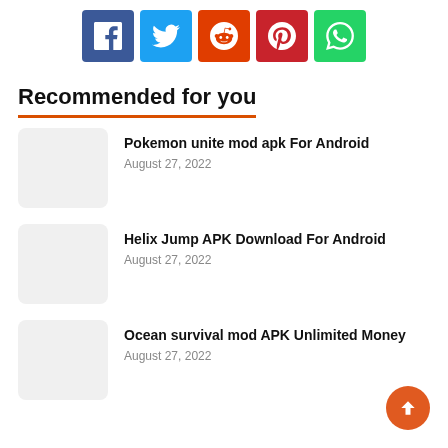[Figure (infographic): Social share buttons: Facebook (blue), Twitter (light blue), Reddit (orange-red), Pinterest (red), WhatsApp (green)]
Recommended for you
Pokemon unite mod apk For Android
August 27, 2022
Helix Jump APK Download For Android
August 27, 2022
Ocean survival mod APK Unlimited Money
August 27, 2022